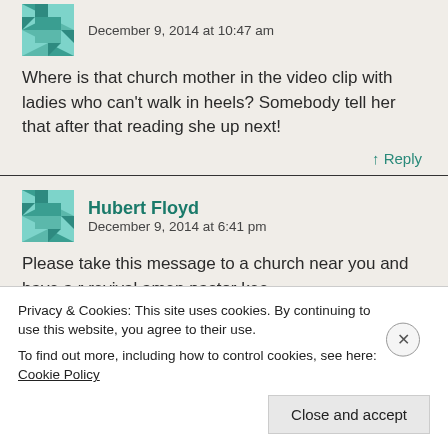December 9, 2014 at 10:47 am
Where is that church mother in the video clip with ladies who can't walk in heels? Somebody tell her that after that reading she up next!
↑ Reply
Hubert Floyd
December 9, 2014 at 6:41 pm
Please take this message to a church near you and have a revival amen pastor kee
Privacy & Cookies: This site uses cookies. By continuing to use this website, you agree to their use. To find out more, including how to control cookies, see here: Cookie Policy
Close and accept